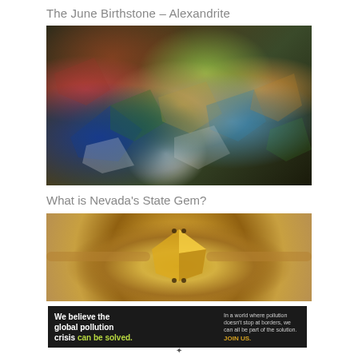The June Birthstone – Alexandrite
[Figure (photo): Rough gemstones including opals and other minerals with iridescent blue, green, red colors on dark background]
What is Nevada's State Gem?
[Figure (photo): Close-up of a yellow/golden gemstone ring on a bokeh background]
[Figure (infographic): Pure Earth advertisement banner: 'We believe the global pollution crisis can be solved. In a world where pollution doesn't stop at borders, we can all be part of the solution. JOIN US.' with Pure Earth logo]
✦